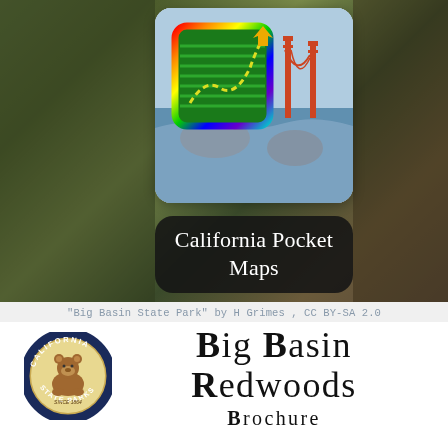[Figure (screenshot): App screenshot showing California Pocket Maps with map icon graphic and Golden Gate Bridge in background, displayed over blurred forest photo]
California Pocket Maps
"Big Basin State Park" by H Grimes , CC BY-SA 2.0
[Figure (logo): California State Parks circular seal logo with bear in center]
Big Basin Redwoods Brochure